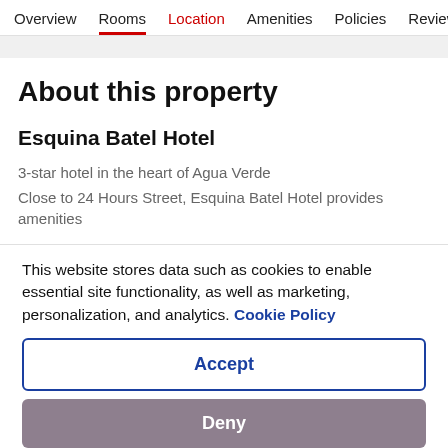Overview  Rooms  Location  Amenities  Policies  Reviews
About this property
Esquina Batel Hotel
3-star hotel in the heart of Agua Verde
Close to 24 Hours Street, Esquina Batel Hotel provides amenities
This website stores data such as cookies to enable essential site functionality, as well as marketing, personalization, and analytics. Cookie Policy
Accept
Deny